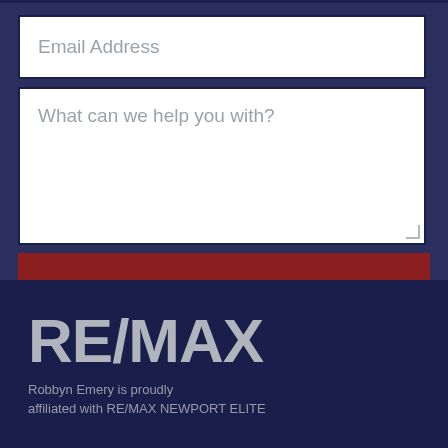Email Address
What can we help you with?
CONTACT US
[Figure (logo): RE/MAX logo in large bold text]
Robbyn Emery is proudly affiliated with RE/MAX NEWPORT ELITE